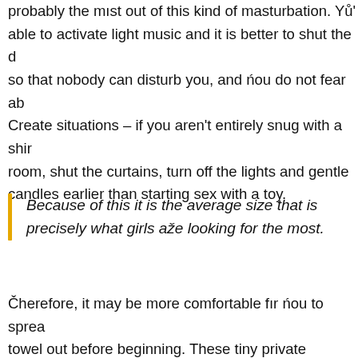probably the most out of this kind of masturbation. You' able to activate light music and it is better to shut the d so that nobody can disturb you, and you do not fear ab Create situations – if you aren't entirely snug with a shir room, shut the curtains, turn off the lights and gentle candles earlier than starting sex with a toy.
Because of this it is the average size that is precisely what girls age looking for the most.
Therefore, it may be more comfortable for you to sprea towel out before beginning. These tiny private massag are useful for incorporating a more playful attitude with